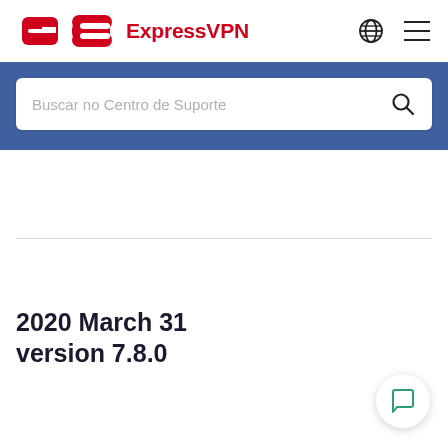ExpressVPN
[Figure (screenshot): Search bar with placeholder text 'Buscar no Centro de Suporte' on a blue banner background]
2020 March 31
version 7.8.0